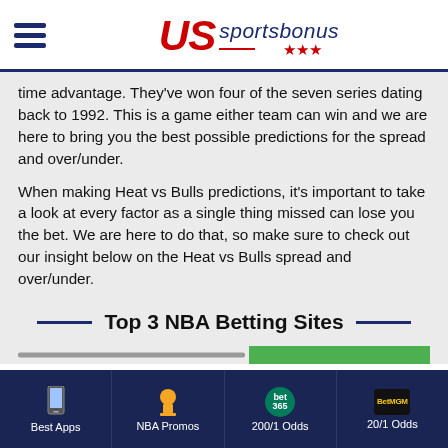[Figure (logo): US Sportsbonus logo with hamburger menu icon on left, red italic US text, blue cursive sportsbonus text, red stars, and red/blue underline]
time advantage. They've won four of the seven series dating back to 1992. This is a game either team can win and we are here to bring you the best possible predictions for the spread and over/under.
When making Heat vs Bulls predictions, it's important to take a look at every factor as a single thing missed can lose you the bet. We are here to do that, so make sure to check out our insight below on the Heat vs Bulls spread and over/under.
Top 3 NBA Betting Sites
Best Apps | NBA Promos | 200/1 Odds | 20/1 Odds